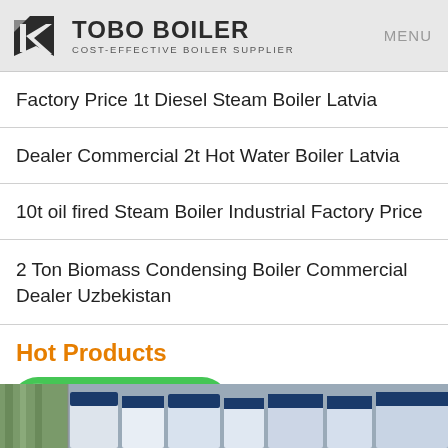TOBO BOILER — COST-EFFECTIVE BOILER SUPPLIER | MENU
Factory Price 1t Diesel Steam Boiler Latvia
Dealer Commercial 2t Hot Water Boiler Latvia
10t oil fired Steam Boiler Industrial Factory Price
2 Ton Biomass Condensing Boiler Commercial Dealer Uzbekistan
Hot Products
[Figure (screenshot): WhatsApp contact button (green rounded rectangle with WhatsApp icon and label)]
[Figure (photo): Industrial boiler units shown in a row against a grey wall with bamboo plants on the left]